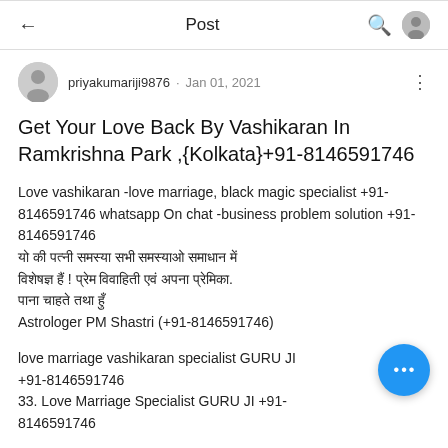Post
priyakumariji9876 · Jan 01, 2021
Get Your Love Back By Vashikaran In Ramkrishna Park ,{Kolkata}+91-8146591746
Love vashikaran -love marriage, black magic specialist +91-8146591746 whatsapp On chat -business problem solution +91-8146591746 [Hindi text] Astrologer PM Shastri (+91-8146591746)
love marriage vashikaran specialist GURU JI +91-8146591746
33. Love Marriage Specialist GURU JI +91-8146591746